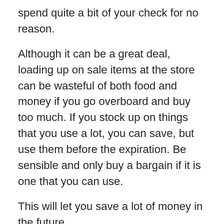spend quite a bit of your check for no reason.
Although it can be a great deal, loading up on sale items at the store can be wasteful of both food and money if you go overboard and buy too much. If you stock up on things that you use a lot, you can save, but use them before the expiration. Be sensible and only buy a bargain if it is one that you can use.
This will let you save a lot of money in the future.
Start today! You can turn your personal finances. Put aside money each payday for your savings just as if you were paying a bill. You will start to accumulate money if you make paying yourself a good financial cushion.
Credit Score
CreditCards are a great resource for it... Wh